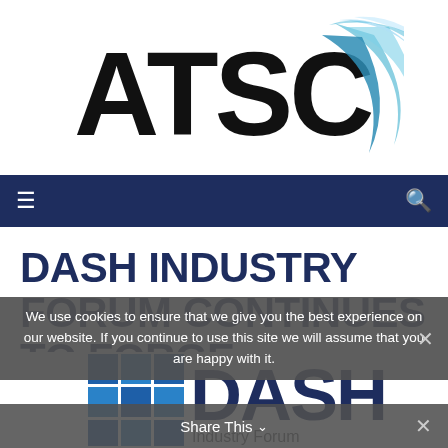[Figure (logo): ATSC logo with large black bold text 'ATSC' and blue swoosh/arc graphic on the right side]
≡  🔍
DASH INDUSTRY FORUM CONTINUES TO FORGE ADOPTION WITH ATSC 3.0
Posted on September 1, 2020 in ATSC News
We use cookies to ensure that we give you the best experience on our website. If you continue to use this site we will assume that you are happy with it.
[Figure (logo): DASH Industry Forum logo — blue grid squares on the left, large 'DASH' text in dark gray/blue, 'Industry Forum' below]
Share This ∨